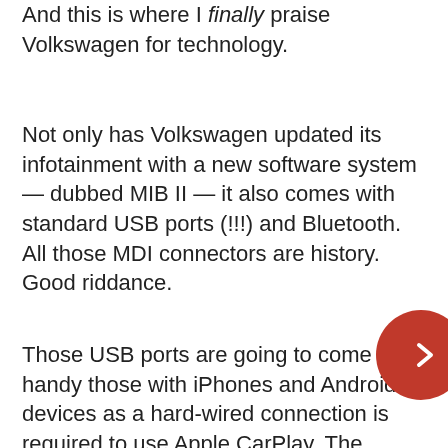And this is where I finally praise Volkswagen for technology.
Not only has Volkswagen updated its infotainment with a new software system — dubbed MIB II — it also comes with standard USB ports (!!!) and Bluetooth. All those MDI connectors are history. Good riddance.
Those USB ports are going to come in handy those with iPhones and Android devices as a hard-wired connection is required to use Apple CarPlay. The Passat also supports Android Auto, but I didn't get a chance to test it out since I'm an Apple fanboi to the worst degree.